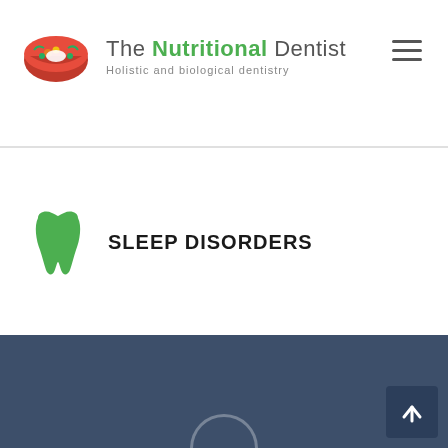The Nutritional Dentist — Holistic and biological dentistry
SLEEP DISORDERS
[Figure (illustration): Dark blue-grey footer background with a partial circle arc visible at the bottom center, and a back-to-top arrow button in the lower right corner]